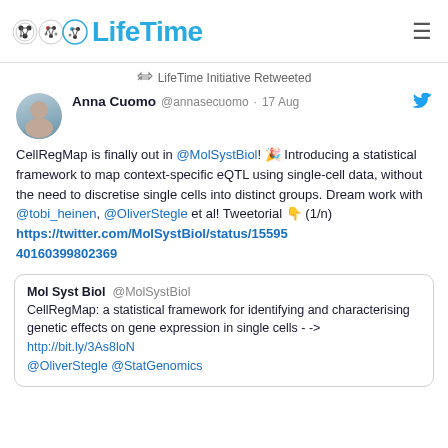LifeTime
LifeTime Initiative Retweeted
Anna Cuomo @annasecuomo · 17 Aug
CellRegMap is finally out in @MolSystBiol! 🎉 Introducing a statistical framework to map context-specific eQTL using single-cell data, without the need to discretise single cells into distinct groups. Dream work with @tobi_heinen, @OliverStegle et al! Tweetorial 👇 (1/n) https://twitter.com/MolSystBiol/status/1559540160399802369
Mol Syst Biol @MolSystBiol
CellRegMap: a statistical framework for identifying and characterising genetic effects on gene expression in single cells - -> http://bit.ly/3As8loN
@OliverStegle @StatGenomics